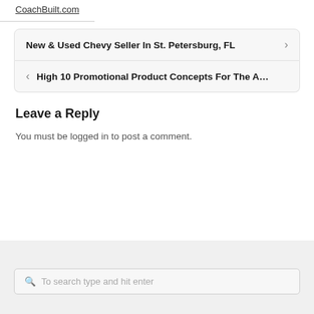CoachBuilt.com
New & Used Chevy Seller In St. Petersburg, FL
High 10 Promotional Product Concepts For The A…
Leave a Reply
You must be logged in to post a comment.
To search type and hit enter